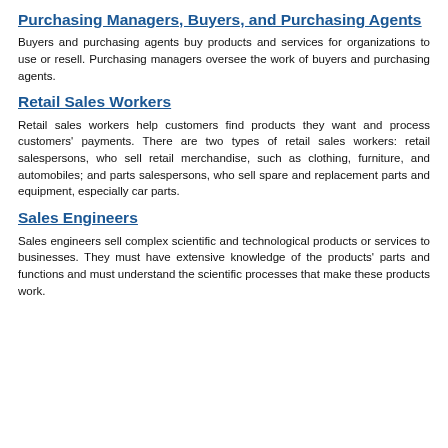Purchasing Managers, Buyers, and Purchasing Agents
Buyers and purchasing agents buy products and services for organizations to use or resell. Purchasing managers oversee the work of buyers and purchasing agents.
Retail Sales Workers
Retail sales workers help customers find products they want and process customers' payments. There are two types of retail sales workers: retail salespersons, who sell retail merchandise, such as clothing, furniture, and automobiles; and parts salespersons, who sell spare and replacement parts and equipment, especially car parts.
Sales Engineers
Sales engineers sell complex scientific and technological products or services to businesses. They must have extensive knowledge of the products' parts and functions and must understand the scientific processes that make these products work.